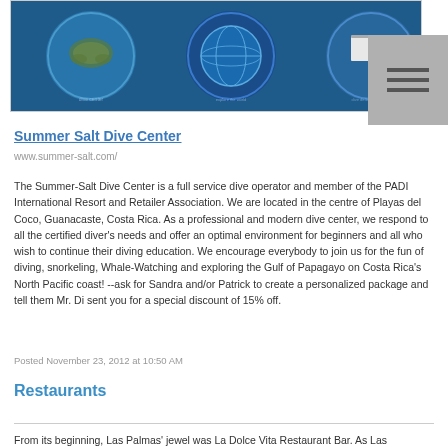[Figure (photo): Website header image showing circular dive-related photos on a dark blue ocean background, with a grey menu icon with three horizontal lines on the right side.]
Summer Salt Dive Center
www.summer-salt.com/
The Summer-Salt Dive Center is a full service dive operator and member of the PADI International Resort and Retailer Association. We are located in the centre of Playas del Coco, Guanacaste, Costa Rica. As a professional and modern dive center, we respond to all the certified diver's needs and offer an optimal environment for beginners and all who wish to continue their diving education. We encourage everybody to join us for the fun of diving, snorkeling, Whale-Watching and exploring the Gulf of Papagayo on Costa Rica's North Pacific coast! --ask for Sandra and/or Patrick to create a personalized package and tell them Mr. Di sent you for a special discount of 15% off.
Posted November 23, 2012 at 10:50 AM
Restaurants
From its beginning, Las Palmas' jewel was La Dolce Vita Restaurant Bar. As Las